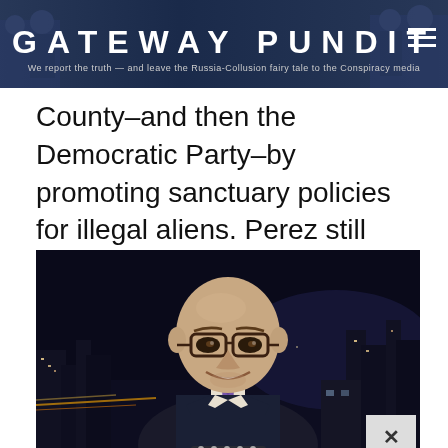GATEWAY PUNDIT — We report the truth — and leave the Russia-Collusion fairy tale to the Conspiracy media
County–and then the Democratic Party–by promoting sanctuary policies for illegal aliens. Perez still resides there.
[Figure (photo): A bald man wearing glasses and a dark suit with a purple tie, smiling, against a nighttime city skyline background. There is an X (close) button in the bottom right corner and dots/progress indicator at the bottom.]
Advertisement